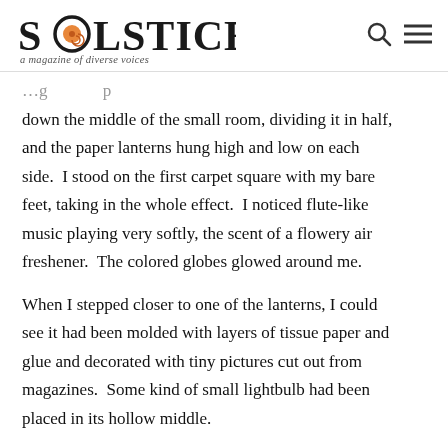SOLSTICE a magazine of diverse voices
down the middle of the small room, dividing it in half, and the paper lanterns hung high and low on each side.  I stood on the first carpet square with my bare feet, taking in the whole effect.  I noticed flute-like music playing very softly, the scent of a flowery air freshener.  The colored globes glowed around me.

When I stepped closer to one of the lanterns, I could see it had been molded with layers of tissue paper and glue and decorated with tiny pictures cut out from magazines.  Some kind of small lightbulb had been placed in its hollow middle.